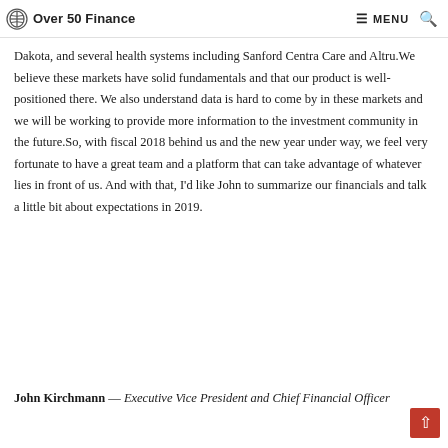Over 50 Finance   MENU 🔍
Dakota, and several health systems including Sanford Centra Care and Altru.We believe these markets have solid fundamentals and that our product is well-positioned there. We also understand data is hard to come by in these markets and we will be working to provide more information to the investment community in the future.So, with fiscal 2018 behind us and the new year under way, we feel very fortunate to have a great team and a platform that can take advantage of whatever lies in front of us. And with that, I'd like John to summarize our financials and talk a little bit about expectations in 2019.
John Kirchmann — Executive Vice President and Chief Financial Officer